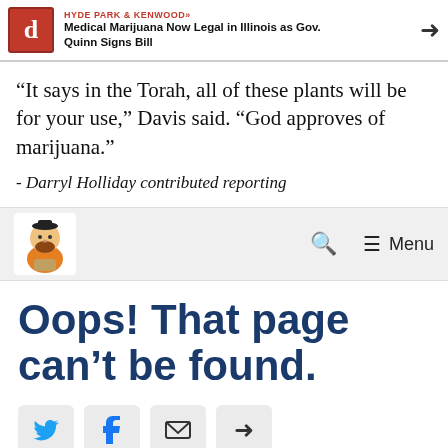HYDE PARK & KENWOOD» Medical Marijuana Now Legal in Illinois as Gov. Quinn Signs Bill
“It says in the Torah, all of these plants will be for your use,” Davis said. “God approves of marijuana.”
- Darryl Holliday contributed reporting
[Figure (screenshot): Navigation bar with mascot logo, search icon, and Menu button]
Oops! That page can’t be found.
[Figure (infographic): Social share buttons: Twitter, Facebook, Email, Share]